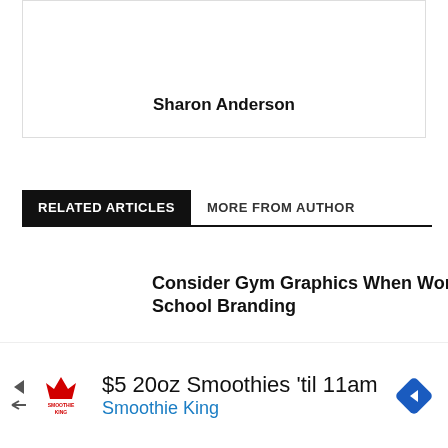Sharon Anderson
RELATED ARTICLES | MORE FROM AUTHOR
Consider Gym Graphics When Working on School Branding
Sports
Carolina Panthers Announce Their Pick
[Figure (other): Advertisement banner for Smoothie King: $5 20oz Smoothies 'til 11am]